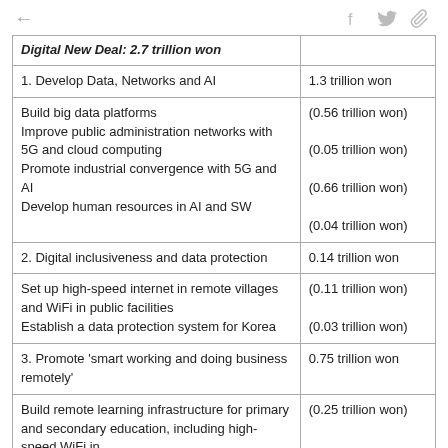← (back arrow)  (social icons: facebook, twitter, attachment)
| Digital New Deal: 2.7 trillion won |  |
| --- | --- |
| 1. Develop Data, Networks and AI | 1.3 trillion won |
| Build big data platforms
Improve public administration networks with 5G and cloud computing
Promote industrial convergence with 5G and AI
Develop human resources in AI and SW | (0.56 trillion won)
(0.05 trillion won)
(0.66 trillion won)
(0.04 trillion won) |
| 2. Digital inclusiveness and data protection | 0.14 trillion won |
| Set up high-speed internet in remote villages and WiFi in public facilities
Establish a data protection system for Korea | (0.11 trillion won)
(0.03 trillion won) |
| 3. Promote 'smart working and doing business remotely' | 0.75 trillion won |
| Build remote learning infrastructure for primary and secondary education, including high-speed WiFi in | (0.25 trillion won) |